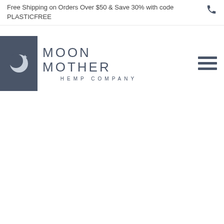Free Shipping on Orders Over $50 & Save 30% with code PLASTICFREE
[Figure (logo): Moon Mother Hemp Company logo: dark slate crescent moon icon on dark background, with large text MOON MOTHER and smaller text HEMP COMPANY]
[Figure (other): Hamburger navigation menu icon (three horizontal lines) in dark slate color]